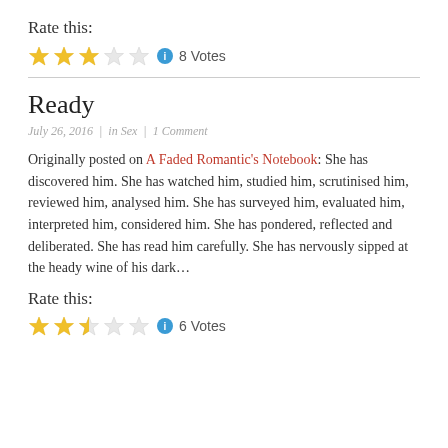Rate this:
[Figure (other): Star rating widget showing 3 out of 5 stars (3 filled gold stars, 2 empty stars), info icon, and '8 Votes' label]
Ready
July 26, 2016  |  in Sex  |  1 Comment
Originally posted on A Faded Romantic's Notebook: She has discovered him. She has watched him, studied him, scrutinised him, reviewed him, analysed him. She has surveyed him, evaluated him, interpreted him, considered him. She has pondered, reflected and deliberated. She has read him carefully. She has nervously sipped at the heady wine of his dark…
Rate this:
[Figure (other): Star rating widget showing 2.5 out of 5 stars (2 filled gold stars, 1 half star, 2 empty stars), info icon, and '6 Votes' label]